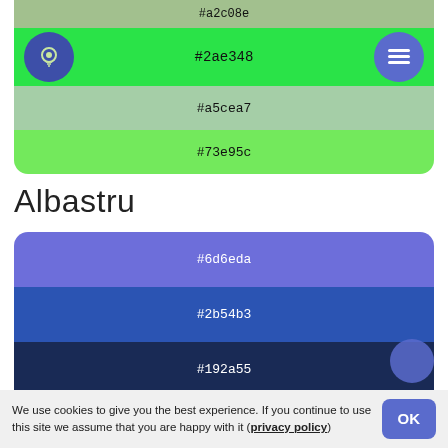[Figure (infographic): Green color palette card showing hex colors #a2c08e, #2ae348 (highlighted with lightbulb and menu icons), #a5cea7, #73e95c]
Albastru
[Figure (infographic): Blue color palette card showing hex colors #6d6eda, #2b54b3, #192a55, #798ee0, #3f426b]
We use cookies to give you the best experience. If you continue to use this site we assume that you are happy with it (privacy policy)